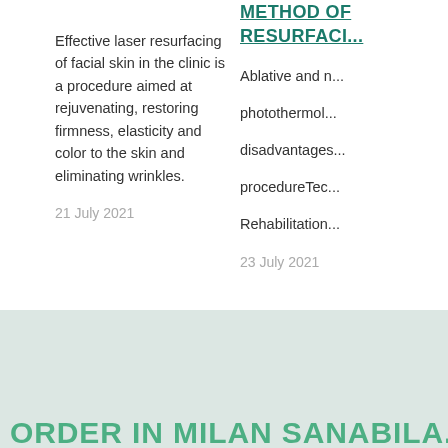METHOD OF RESURFACI...
Effective laser resurfacing of facial skin in the clinic is a procedure aimed at rejuvenating, restoring firmness, elasticity and color to the skin and eliminating wrinkles.
21 July 2021
Ablative and n... photothermol... disadvantages... procedureTec... Rehabilitation...
23 July 2021
ORDER IN MILAN SANABILA...